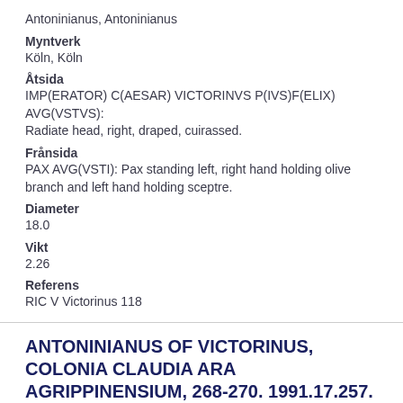Antoninianus, Antoninianus
Myntverk
Köln, Köln
Åtsida
IMP(ERATOR) C(AESAR) VICTORINVS P(IVS)F(ELIX) AVG(VSTVS): Radiate head, right, draped, cuirassed.
Frånsida
PAX AVG(VSTI): Pax standing left, right hand holding olive branch and left hand holding sceptre.
Diameter
18.0
Vikt
2.26
Referens
RIC V Victorinus 118
ANTONINIANUS OF VICTORINUS, COLONIA CLAUDIA ARA AGRIPPINENSIUM, 268-270. 1991.17.257.
Datum
A.D. 268 - A.D. 271